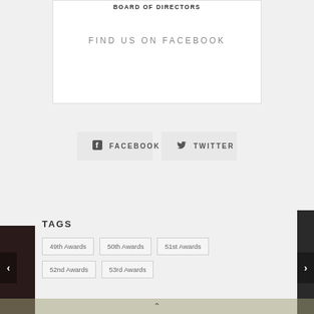BOARD OF DIRECTORS
FIND US ON FACEBOOK
FACEBOOK
TWITTER
TAGS
49th Awards
50th Awards
51st Awards
52nd Awards
53rd Awards